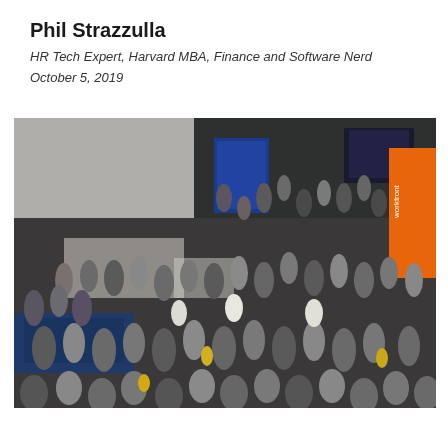Phil Strazzulla
HR Tech Expert, Harvard MBA, Finance and Software Nerd
October 5, 2019
[Figure (photo): Aerial/overhead view of a large crowd of people at what appears to be a career fair or networking event in a large indoor venue. Exhibitor booths and banners (including a blue banner and an orange Workfront banner) are visible among the crowd.]